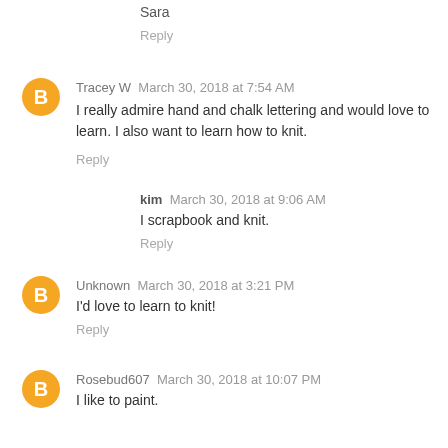Sara
Reply
Tracey W  March 30, 2018 at 7:54 AM
I really admire hand and chalk lettering and would love to learn. I also want to learn how to knit.
Reply
kim  March 30, 2018 at 9:06 AM
I scrapbook and knit.
Reply
Unknown  March 30, 2018 at 3:21 PM
I'd love to learn to knit!
Reply
Rosebud607  March 30, 2018 at 10:07 PM
I like to paint.